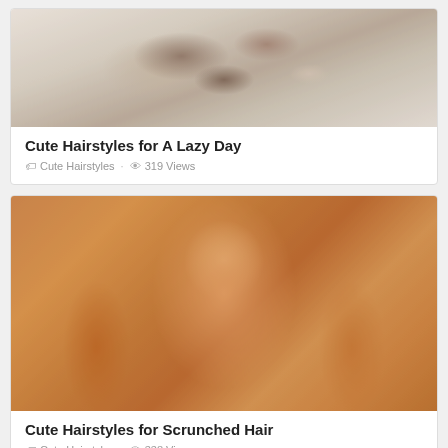[Figure (photo): Top portion of a card showing a messy updo hairstyle, blonde and brunette hair]
Cute Hairstyles for A Lazy Day
Cute Hairstyles · 319 Views
[Figure (photo): Young woman with long wavy brunette hair looking sideways with a pouting expression]
Cute Hairstyles for Scrunched Hair
Cute Hairstyles · 338 Views